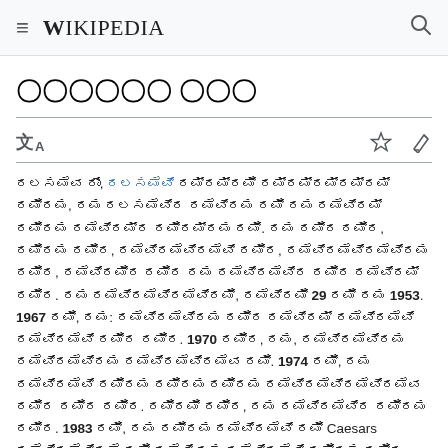≡ WIKIPEDIA 🔍
ꀃꀃꀃꀃꀃꀃ ꀃꀃꀃ
ꀃꀃꀃꀃꀃꀃ ꀃꀃꀃ, ꀃꀃꀃꀃꀃꀃꀃ ꀃꀃꀃꀃꀃꀃꀃꀃ ꀃꀃꀃꀃꀃꀃꀃꀃꀃꀃ ꀃꀃꀃꀃ, ꀃꀃ ꀃꀃꀃꀃꀃꀃꀃꀃ ꀃꀃꀃꀃꀃꀃ ꀃꀃꀃꀃ ꀃꀃ ꀃꀃꀃꀃꀃꀃꀃ ꀃꀃꀃꀃ ꀃꀃꀃꀃꀃꀃ ꀃꀃꀃꀃꀃ ꀃꀃ. ꀃꀃ ꀃꀃꀃ ꀃꀃꀃ, ꀃꀃꀃꀃ ꀃꀃꀃ, ꀃꀃꀃꀃꀃꀃꀃꀃꀃꀃꀃꀃ ꀃꀃꀃ, ꀃꀃꀃꀃꀃꀃꀃꀃꀃꀃꀃꀃꀃ ꀃꀃꀃ, ꀃꀃꀃꀃꀃꀃꀃ ꀃꀃꀃ ꀃꀃ ꀃꀃꀃꀃꀃꀃꀃꀃ ꀃꀃꀃ ꀃꀃꀃꀃꀃ ꀃꀃꀃ. ꀃꀃ ꀃꀃꀃꀃꀃꀃꀃꀃꀃꀃ, ꀃꀃꀃꀃꀃꀃ 29 ꀃꀃꀃ ꀃꀃ 1953. 1967 ꀃꀃ, ꀃꀃ: ꀃꀃꀃꀃꀃꀃꀃꀃꀃ ꀃꀃꀃ ꀃꀃꀃꀃꀃ ꀃꀃꀃꀃꀃꀃ ꀃꀃꀃꀃꀃꀃ ꀃꀃꀃ ꀃꀃꀃ. 1970 ꀃꀃꀃ, ꀃꀃ, ꀃꀃꀃꀃꀃꀃꀃꀃ ꀃꀃꀃꀃꀃꀃꀃꀃ ꀃꀃꀃꀃꀃꀃꀃꀃꀃ ꀃꀃ. 1974 ꀃꀃ, ꀃꀃ ꀃꀃꀃꀃꀃꀃ ꀃꀃꀃꀃ ꀃꀃꀃꀃ ꀃꀃꀃꀃ ꀃꀃꀃꀃꀃꀃꀃꀃꀃꀃꀃ ꀃꀃꀃ ꀃꀃꀃ ꀃꀃꀃ. ꀃꀃꀃꀃꀃ ꀃꀃꀃ, ꀃꀃ ꀃꀃꀃꀃꀃꀃꀃ ꀃꀃꀃꀃ ꀃꀃꀃ. 1983 ꀃꀃ, ꀃꀃ ꀃꀃꀃꀃ ꀃꀃꀃꀃꀃꀃ ꀃꀃ Caesars ꀃꀃꀃꀃꀃꀃꀃꀃꀃ ꀃꀃ ꀃꀃꀃꀃ ꀃꀃ ꀃꀃꀃꀃꀃꀃ ꀃꀃꀃꀃ ꀃꀃꀃ. ꀃꀃ ꀃꀃꀃ ꀃꀃꀃ ꀃꀃꀃꀃꀃ 100 ꀃꀃ ꀃꀃꀃ ꀃꀃ. ꀃꀃꀃ ꀃꀃꀃꀃꀃꀃ, ꀃꀃ ꀃꀃꀃꀃ ꀃꀃꀃꀃꀃꀃ 500 ꀃꀃ ꀃꀃꀃ ꀃꀃ. ꀃꀃꀃ ꀃꀃꀃ ꀃꀃꀃꀃ ꀃꀃꀃꀃꀃꀃꀃꀃꀃ, ꀃꀃꀃꀃꀃꀃ, ꀃꀃꀃꀃ, ꀃꀃꀃꀃꀃ, ꀃꀃꀃꀃꀃ ꀃꀃꀃꀃꀃꀃꀃ, ꀃꀃꀃꀃꀃ ꀃꀃꀃꀃꀃꀃꀃꀃ, ꀃꀃꀃꀃꀃꀃꀃꀃꀃꀃꀃꀃ, ꀃꀃꀃꀃꀃꀃꀃꀃꀃꀃꀃꀃꀃꀃ, ꀃꀃꀃꀃꀃꀃꀃꀃꀃꀃꀃꀃꀃꀃ ꀃꀃ ꀃꀃꀃꀃ ꀃꀃꀃꀃꀃ ꀃꀃꀃ